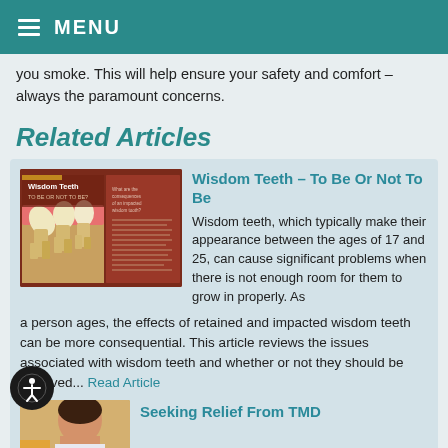MENU
you smoke. This will help ensure your safety and comfort – always the paramount concerns.
Related Articles
[Figure (illustration): Illustration of wisdom teeth cross-section showing teeth embedded in jaw bone, with book spread showing 'Wisdom Teeth – To Be Or Not To Be?' title]
Wisdom Teeth – To Be Or Not To Be
Wisdom teeth, which typically make their appearance between the ages of 17 and 25, can cause significant problems when there is not enough room for them to grow in properly. As a person ages, the effects of retained and impacted wisdom teeth can be more consequential. This article reviews the issues associated with wisdom teeth and whether or not they should be removed... Read Article
[Figure (photo): Partial image for Seeking Relief From TMD article]
Seeking Relief From TMD